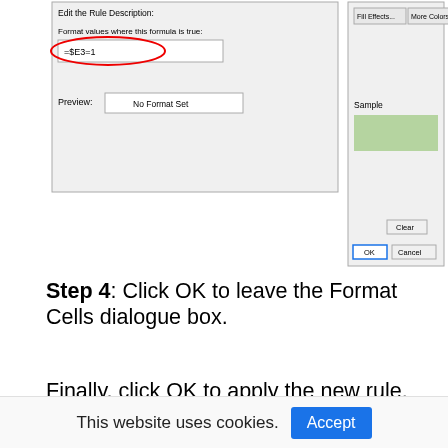[Figure (screenshot): Screenshot of Excel conditional formatting dialog boxes. Left dialog shows 'Edit the Rule Description' with formula '=$E3=1' circled in red and 'Preview: No Format Set'. Right dialog shows color picker with 'Fill Effects...' and 'More Colors...' buttons, a green 'Sample' rectangle, 'Clear', 'OK', and 'Cancel' buttons.]
Step 4: Click OK to leave the Format Cells dialogue box.
Finally, click OK to apply the new rule. The top 1 product will be highlighted with your selected color.
[Figure (screenshot): Partial view of Excel spreadsheet showing column headers B, C, D, E, F]
This website uses cookies.
Accept